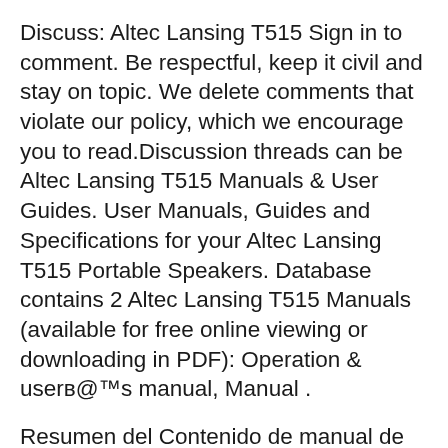Discuss: Altec Lansing T515 Sign in to comment. Be respectful, keep it civil and stay on topic. We delete comments that violate our policy, which we encourage you to read.Discussion threads can be Altec Lansing T515 Manuals & User Guides. User Manuals, Guides and Specifications for your Altec Lansing T515 Portable Speakers. Database contains 2 Altec Lansing T515 Manuals (available for free online viewing or downloading in PDF): Operation & userвЂ™s manual, Manual .
Resumen del Contenido de manual de usuario para Altec Lansing T515. РГЎgina 1 UserвЂ™s guide.